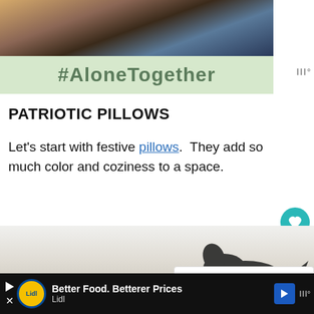[Figure (photo): Top image showing person with laptop, overlaid with #AloneTogether text on a green background bar]
PATRIOTIC PILLOWS
Let's start with festive pillows. They add so much color and coziness to a space.
[Figure (photo): Photo of a decorative dark horse figurine on a light background with shelving]
WHAT'S NEXT → EASY PATRIOTIC...
Better Food. Betterer Prices Lidl